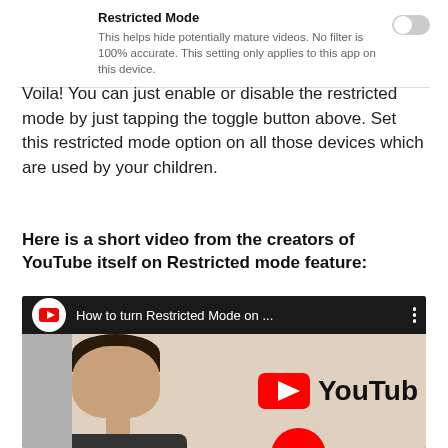Restricted Mode
This helps hide potentially mature videos. No filter is 100% accurate. This setting only applies to this app on this device.
Voila! You can just enable or disable the restricted mode by just tapping the toggle button above. Set this restricted mode option on all those devices which are used by your children.
Here is a short video from the creators of YouTube itself on Restricted mode feature:
[Figure (screenshot): YouTube video thumbnail showing 'How to turn Restricted Mode on ...' with a man's face and YouTube logo]